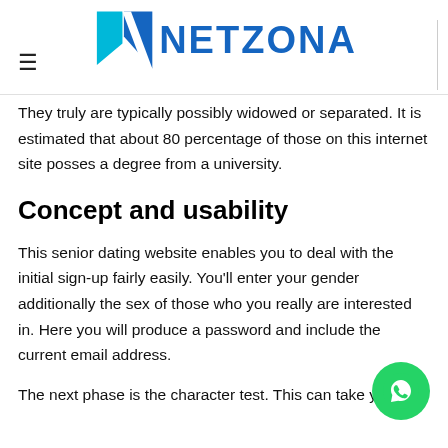NETZONA
They truly are typically possibly widowed or separated. It is estimated that about 80 percentage of those on this internet site posses a degree from a university.
Concept and usability
This senior dating website enables you to deal with the initial sign-up fairly easily. You'll enter your gender additionally the sex of those who you really are interested in. Here you will produce a password and include the current email address.
The next phase is the character test. This can take you a